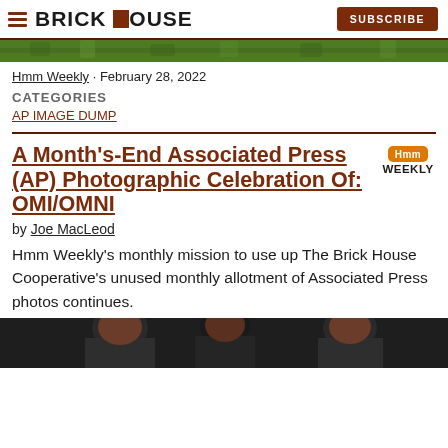BRICK HOUSE | SUBSCRIBE
[Figure (photo): Green foliage/grass image strip at top of article]
Hmm Weekly · February 28, 2022
CATEGORIES
AP IMAGE DUMP
A Month's-End Associated Press (AP) Photographic Celebration Of: OMI/OMNI
by Joe MacLeod
Hmm Weekly's monthly mission to use up The Brick House Cooperative's unused monthly allotment of Associated Press photos continues.
[Figure (photo): Photo of people at bottom of page, partially cropped]